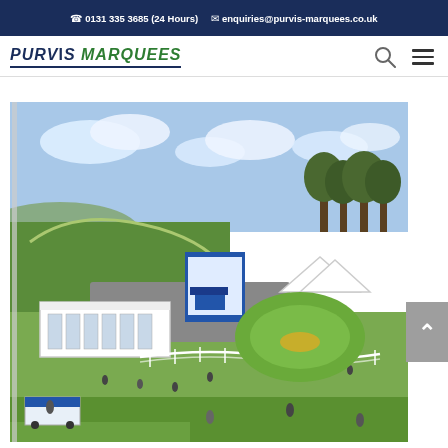☎ 0131 335 3685 (24 Hours)   ✉ enquiries@purvis-marquees.co.uk
[Figure (logo): Purvis Marquees logo with italic serif text in dark navy and green]
[Figure (photo): Aerial view of a racecourse with white marquee tents, green grass track, buildings, crowds, and trees under blue sky with clouds]